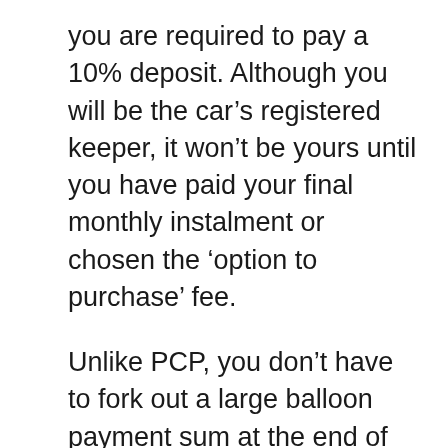you are required to pay a 10% deposit. Although you will be the car’s registered keeper, it won’t be yours until you have paid your final monthly instalment or chosen the ‘option to purchase’ fee.
Unlike PCP, you don’t have to fork out a large balloon payment sum at the end of your contract, and you’re not locked into a mileage allowance agreement. With HP, you can expect slightly higher monthly repayments after you’ve put your deposit down.